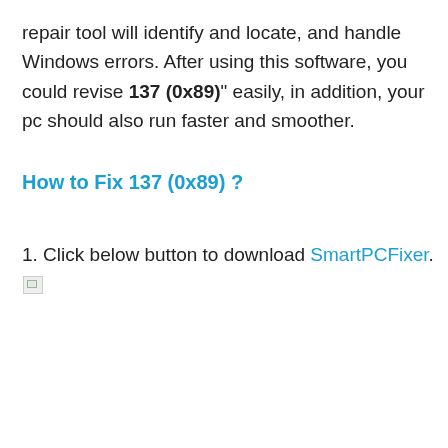repair tool will identify and locate, and handle Windows errors. After using this software, you could revise 137 (0x89)" easily, in addition, your pc should also run faster and smoother.
How to Fix 137 (0x89) ?
1. Click below button to download SmartPCFixer.